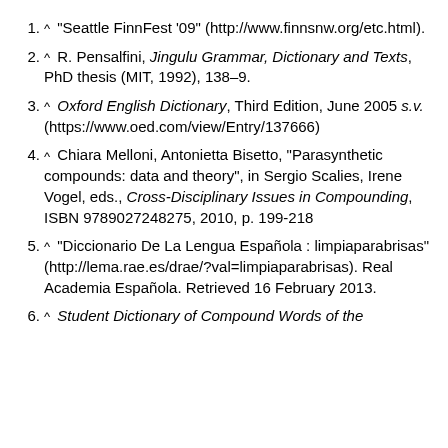^ "Seattle FinnFest '09" (http://www.finnsnw.org/etc.html).
^ R. Pensalfini, Jingulu Grammar, Dictionary and Texts, PhD thesis (MIT, 1992), 138–9.
^ Oxford English Dictionary, Third Edition, June 2005 s.v. (https://www.oed.com/view/Entry/137666)
^ Chiara Melloni, Antonietta Bisetto, "Parasynthetic compounds: data and theory", in Sergio Scalies, Irene Vogel, eds., Cross-Disciplinary Issues in Compounding, ISBN 9789027248275, 2010, p. 199-218
^ "Diccionario De La Lengua Española : limpiaparabrisas" (http://lema.rae.es/drae/?val=limpiaparabrisas). Real Academia Española. Retrieved 16 February 2013.
^ Student Dictionary of Compound Words of the